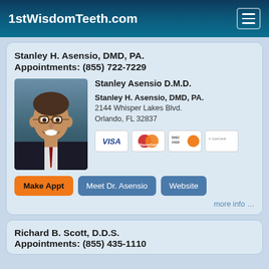1stWisdomTeeth.com
Stanley H. Asensio, DMD, PA.
Appointments: (855) 722-7229
[Figure (photo): Headshot photo of Dr. Stanley Asensio, a smiling man with glasses wearing a dark suit]
Stanley Asensio D.M.D.
Stanley H. Asensio, DMD, PA.
2144 Whisper Lakes Blvd.
Orlando, FL 32837
[Figure (logo): Payment method logos: Visa, MasterCard, Discover, CareCredit]
Make Appt   Meet Dr. Asensio   Website
more info …
Richard B. Scott, D.D.S.
Appointments: (855) 435-1110